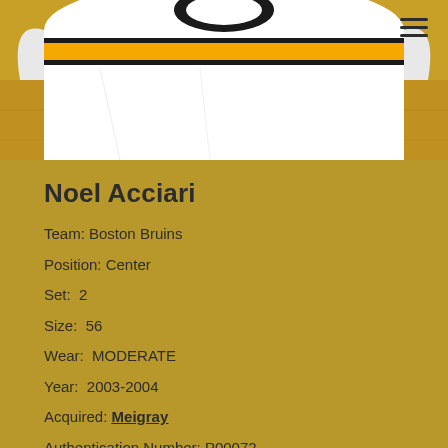[Figure (photo): Photo of a Boston Bruins hockey jersey, white with gold and black stripes, laid flat on a surface. Partial view showing the collar and upper body area.]
Noel Acciari
Team: Boston Bruins
Position: Center
Set:  2
Size:  56
Wear:  MODERATE
Year:  2003-2004
Acquired: Meigray
Authentication Number: P00072